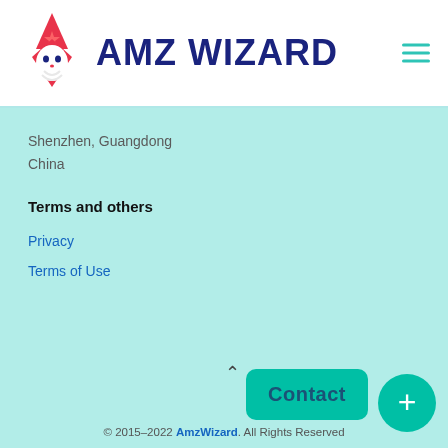[Figure (logo): AMZ Wizard logo with wizard mascot icon and dark blue bold text 'AMZ WIZARD']
Shenzhen, Guangdong
China
Terms and others
Privacy
Terms of Use
© 2015-2022 AmzWizard. All Rights Reserved